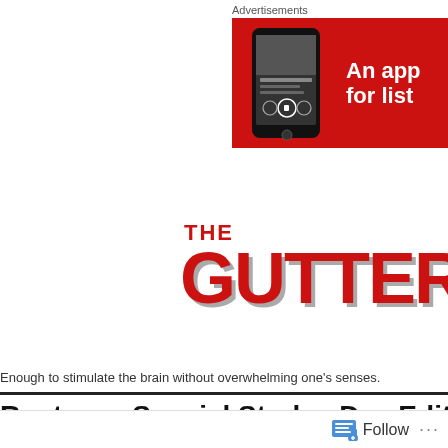Advertisements
[Figure (screenshot): Advertisement banner showing a podcast app interface on a red background with a phone displaying 'Problems with Jon Stewart' podcast and text reading 'An app for list...']
THE GUTTER T
Enough to stimulate the brain without overwhelming one's senses.
Rostrum: Special Stralva Day Edition!
Follow